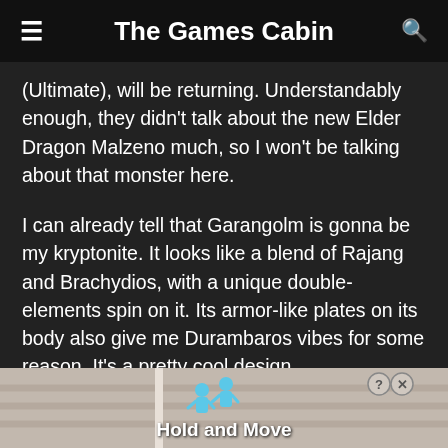The Games Cabin
(Ultimate), will be returning. Understandably enough, they didn't talk about the new Elder Dragon Malzeno much, so I won't be talking about that monster here.
I can already tell that Garangolm is gonna be my kryptonite. It looks like a blend of Rajang and Brachydios, with a unique double-elements spin on it. Its armor-like plates on its body also give me Durambaros vibes for some reason. It's a pretty cool design.
[Figure (screenshot): Advertisement banner at bottom of page showing 'Hold and Move' with two blue cartoon figures and a close/question button in top right corner]